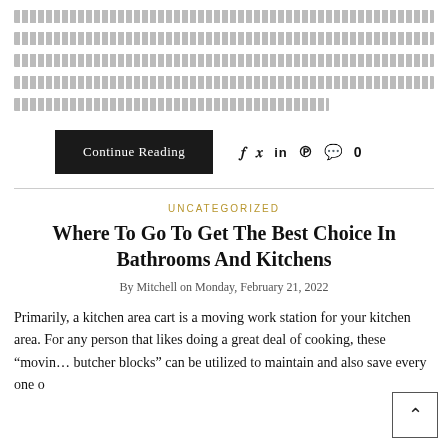[Redacted/obfuscated text block - multiple lines of placeholder content]
Continue Reading
f y in P 💬 0
UNCATEGORIZED
Where To Go To Get The Best Choice In Bathrooms And Kitchens
By Mitchell on Monday, February 21, 2022
Primarily, a kitchen area cart is a moving work station for your kitchen area. For any person that likes doing a great deal of cooking, these "moving butcher blocks" can be utilized to maintain and also save every one o